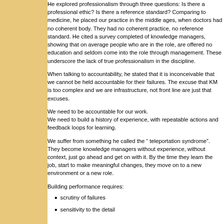He explored professionalism through three questions: Is there a professional ethic? Is there a reference standard? Comparing to medicine, he placed our practice in the middle ages, when doctors had no coherent body. They had no coherent practice, no reference standard. He cited a survey completed of knowledge managers, showing that on average people who are in the role, are offered no education and seldom come into the role through management. These underscore the lack of true professionalism in the discipline.
When talking to accountability, he stated that it is inconceivable that we cannot be held accountable for their failures. The excuse that KM is too complex and we are infrastructure, not front line are just that excuses.
We need to be accountable for our work.
We need to build a history of experience, with repeatable actions and feedback loops for learning.
We suffer from something he called the " teleportation syndrome". They become knowledge managers without experience, without context, just go ahead and get on with it. By the time they learn the job, start to make meaningful changes, they move on to a new environment or a new role.
Building performance requires:
scrutiny of failures
sensitivity to the detail